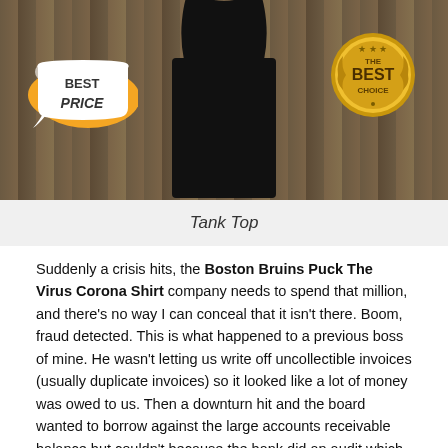[Figure (photo): Product photo of a black tank top on a wood-grain background, with a 'Best Price' speech bubble badge on the left and a gold 'The Best Choice' medallion badge on the right.]
Tank Top
Suddenly a crisis hits, the Boston Bruins Puck The Virus Corona Shirt company needs to spend that million, and there’s no way I can conceal that it isn’t there. Boom, fraud detected. This is what happened to a previous boss of mine. He wasn't letting us write off uncollectible invoices (usually duplicate invoices) so it looked like a lot of money was owed to us. Then a downturn hit and the board wanted to borrow against the large accounts receivable balance but couldn’t because the bank did an audit which showed those invoices are all uncollectible.